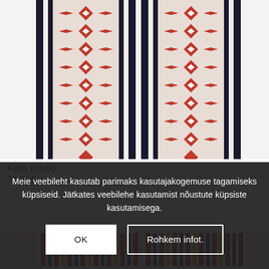[Figure (photo): Close-up photo of traditional Estonian embroidered textile band (kirivöö) showing red and white diamond geometric patterns with dark navy blue borders, two bands side by side.]
Keila kirivöö
72,00 €
Meie veebileht kasutab parimaks kasutajakogemuse tagamiseks küpsiseid. Jätkates veebilehe kasutamist nõustute küpsiste kasutamisega.
OK
Rohkem infot.
[Figure (photo): Bottom strip of traditional Estonian embroidered textile showing colorful geometric patterns in red, blue, and yellow on white background.]